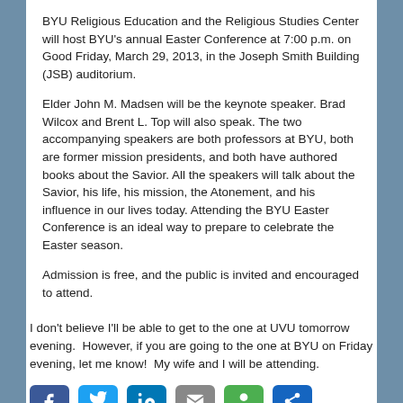BYU Religious Education and the Religious Studies Center will host BYU's annual Easter Conference at 7:00 p.m. on Good Friday, March 29, 2013, in the Joseph Smith Building (JSB) auditorium.
Elder John M. Madsen will be the keynote speaker. Brad Wilcox and Brent L. Top will also speak. The two accompanying speakers are both professors at BYU, both are former mission presidents, and both have authored books about the Savior. All the speakers will talk about the Savior, his life, his mission, the Atonement, and his influence in our lives today. Attending the BYU Easter Conference is an ideal way to prepare to celebrate the Easter season.
Admission is free, and the public is invited and encouraged to attend.
I don't believe I'll be able to get to the one at UVU tomorrow evening.  However, if you are going to the one at BYU on Friday evening, let me know!  My wife and I will be attending.
[Figure (other): Row of social media share buttons: Facebook, Twitter, LinkedIn, Email, Google+, Share]